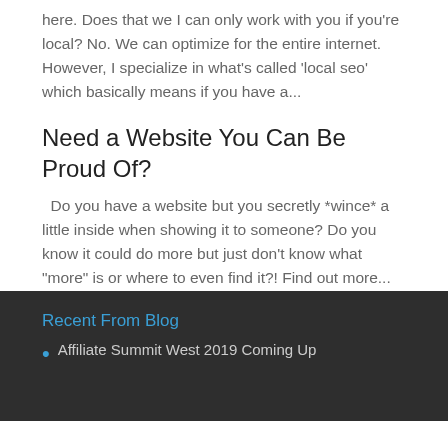here. Does that we I can only work with you if you're local? No. We can optimize for the entire internet. However, I specialize in what's called 'local seo' which basically means if you have a...
Need a Website You Can Be Proud Of?
Do you have a website but you secretly *wince* a little inside when showing it to someone? Do you know it could do more but just don't know what "more" is or where to even find it?! Find out more...
Recent From Blog
Affiliate Summit West 2019 Coming Up